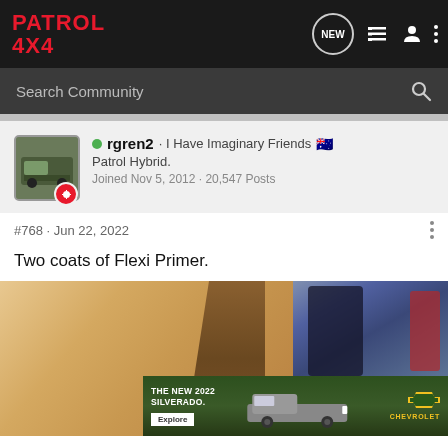PATROL 4X4
Search Community
rgren2 · I Have Imaginary Friends 🇦🇺
Patrol Hybrid.
Joined Nov 5, 2012 · 20,547 Posts
#768 · Jun 22, 2022
Two coats of Flexi Primer.
[Figure (photo): Two photos side by side showing surfaces with Flexi Primer applied — left shows a tan/beige primed flat surface, right shows a workshop scene. An advertisement banner for The New 2022 Silverado by Chevrolet overlays the bottom portion.]